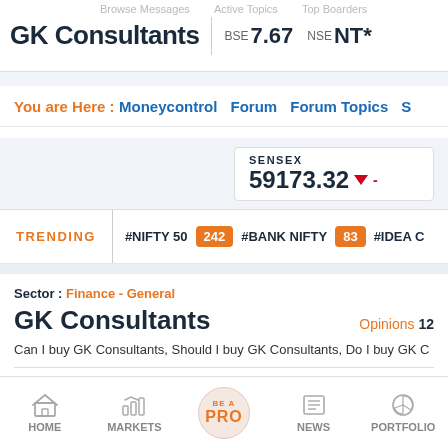GK Consultants | BSE 7.67 | NSE NT*
You are Here : Moneycontrol > Forum > Forum Topics > S
SENSEX 59173.32 ▼
TRENDING #NIFTY 50 242 #BANK NIFTY 83 #IDEA C
Sector : Finance - General
GK Consultants
Opinions 12
Can I buy GK Consultants, Should I buy GK Consultants, Do I buy GK C
HOME | MARKETS | BE A PRO | NEWS | PORTFOLIO